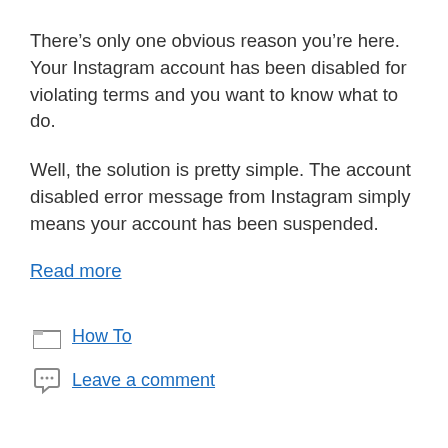There's only one obvious reason you're here. Your Instagram account has been disabled for violating terms and you want to know what to do.
Well, the solution is pretty simple. The account disabled error message from Instagram simply means your account has been suspended.
Read more
How To
Leave a comment